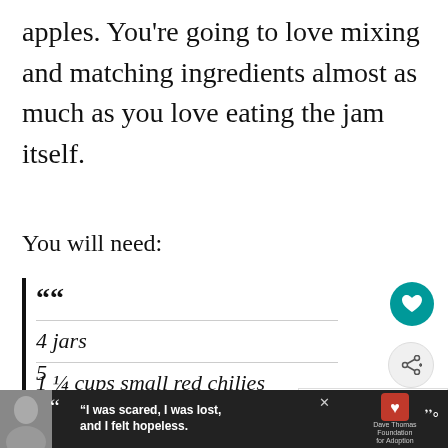apples. You're going to love mixing and matching ingredients almost as much as you love eating the jam itself.
You will need:
““
4 jars
1 ¼ cups small red chilies
3 cooking apples, pierced
5...
[Figure (screenshot): Advertisement bar at bottom with person photo, quote text 'I was scared, I was lost, and I felt hopeless.', Dave Thomas Foundation for Adoption logo, and music icon. Also sidebar icons: teal heart button, share button, What's Next panel for Easy No-Knead Cotta..., and hamburger menu.]